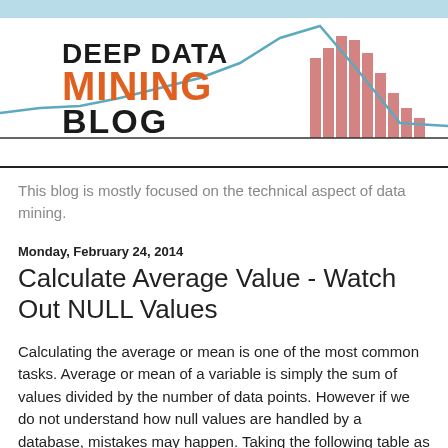[Figure (logo): Deep Data Mining Blog logo with line chart and bar chart graphic in teal/orange colors]
This blog is mostly focused on the technical aspect of data mining.
Monday, February 24, 2014
Calculate Average Value - Watch Out NULL Values
Calculating the average or mean is one of the most common tasks. Average or mean of a variable is simply the sum of values divided by the number of data points. However if we do not understand how null values are handled by a database, mistakes may happen. Taking the following table as an example. It has 6 records and two of them have null in